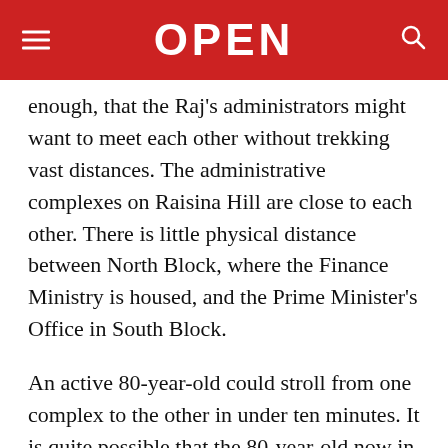OPEN
enough, that the Raj's administrators might want to meet each other without trekking vast distances. The administrative complexes on Raisina Hill are close to each other. There is little physical distance between North Block, where the Finance Ministry is housed, and the Prime Minister's Office in South Block.
An active 80-year-old could stroll from one complex to the other in under ten minutes. It is quite possible that the 80-year-old now in charge of both these administrative wings will do that, if his security staff and the weather permit. Dr